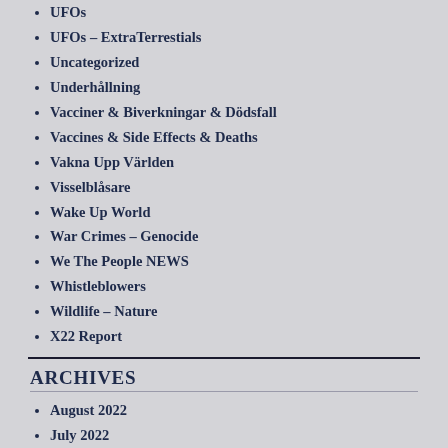UFOs
UFOs – ExtraTerrestials
Uncategorized
Underhållning
Vacciner & Biverkningar & Dödsfall
Vaccines & Side Effects & Deaths
Vakna Upp Världen
Visselblåsare
Wake Up World
War Crimes – Genocide
We The People NEWS
Whistleblowers
Wildlife – Nature
X22 Report
ARCHIVES
August 2022
July 2022
June 2022
May 2022
April 2022
March 2022
February 2022